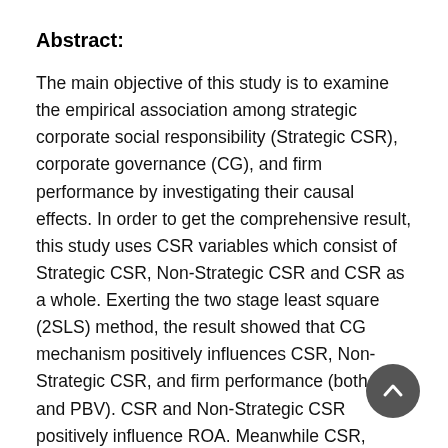Abstract:
The main objective of this study is to examine the empirical association among strategic corporate social responsibility (Strategic CSR), corporate governance (CG), and firm performance by investigating their causal effects. In order to get the comprehensive result, this study uses CSR variables which consist of Strategic CSR, Non-Strategic CSR and CSR as a whole. Exerting the two stage least square (2SLS) method, the result showed that CG mechanism positively influences CSR, Non-Strategic CSR, and firm performance (both ROA and PBV). CSR and Non-Strategic CSR positively influence ROA. Meanwhile CSR, Strategic and Non-Strategic CSR positively influence PBV. Firm's Strategic CSR engagement plays a significantly positive role in enhancing PBV. The results supported the social impact hypothesis, agency theory, and conflict